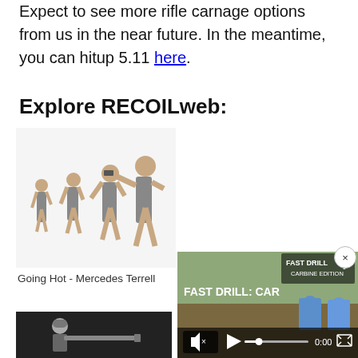Expect to see more rifle carnage options from us in the near future. In the meantime, you can hitup 5.11 here.
Explore RECOILweb:
[Figure (photo): Four women in similar grey outfits posing with firearms, one aiming a pistol, arranged in a row on a white background.]
Going Hot - Mercedes Terrell
[Figure (photo): Black and white photo of a person in tactical gear aiming a rifle.]
[Figure (screenshot): Video player screenshot showing 'FAST DRILL: CAR' with play button, mute icon, 0:00 timestamp, two blue target silhouettes visible in the background.]